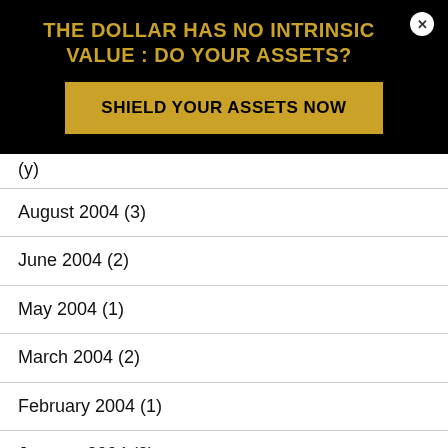THE DOLLAR HAS NO INTRINSIC VALUE : DO YOUR ASSETS?
SHIELD YOUR ASSETS NOW
(?)
August 2004 (3)
June 2004 (2)
May 2004 (1)
March 2004 (2)
February 2004 (1)
January 2004 (2)
December 2003 (1)
November 2003 (1)